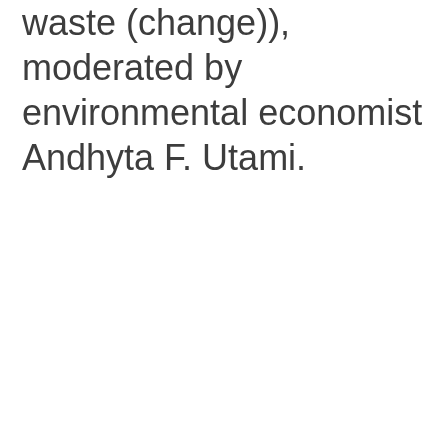waste (change)), moderated by environmental economist Andhyta F. Utami.